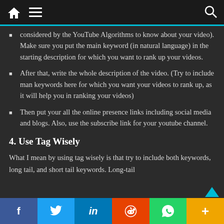Navigation bar with home, menu, and search icons
considered by the YouTube Algorithms to know about your video). Make sure you put the main keyword (in natural language) in the starting description for which you want to rank up your videos.
After that, write the whole description of the video. (Try to include man keywords here for which you want your videos to rank up, as it will help you in ranking your videos)
Then put your all the online presence links including social media and blogs. Also, use the subscribe link for your youtube channel.
4. Use Tag Wisely
What I mean by using tag wisely is that try to include both keywords, long tail, and short tail keywords. Long-tail
f  Twitter  in  Reddit  WhatsApp  +